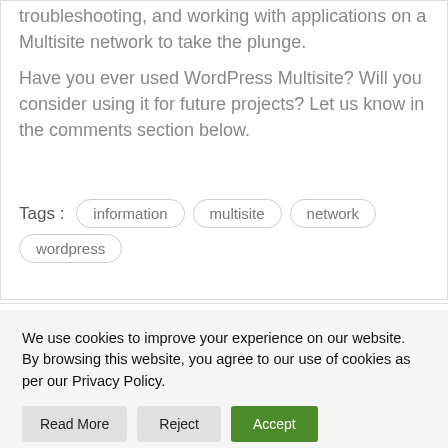troubleshooting, and working with applications on a Multisite network to take the plunge.
Have you ever used WordPress Multisite? Will you consider using it for future projects? Let us know in the comments section below.
Tags : information  multisite  network  wordpress
We use cookies to improve your experience on our website. By browsing this website, you agree to our use of cookies as per our Privacy Policy.